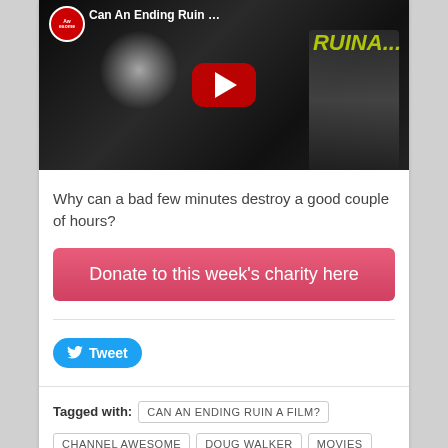[Figure (screenshot): YouTube video thumbnail showing 'Can An Ending Ruin...' with Channel Awesome logo, YouTube play button, and a person on the right side against a dark background with 'RUINA...' text in yellow-green]
Why can a bad few minutes destroy a good couple of hours?
Donate to this week's charity here
Tweet
Tagged with:
CAN AN ENDING RUIN A FILM?
CHANNEL AWESOME
DOUG WALKER
MOVIES